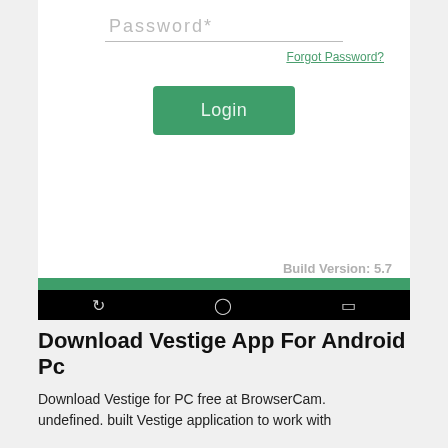[Figure (screenshot): Mobile app login screen showing Password field with dotted underline, Forgot Password link in green, a green Login button, Build Version: 5.7 text at bottom right, a green navigation bar strip, and black Android navigation bar with back/home/recents icons.]
Download Vestige App For Android Pc
Download Vestige for PC free at BrowserCam. undefined. built Vestige application to work with